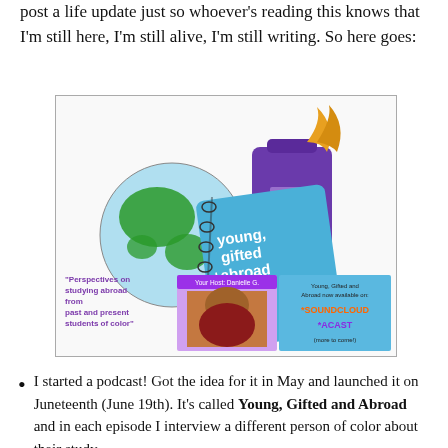post a life update just so whoever's reading this knows that I'm still here, I'm still alive, I'm still writing. So here goes:
[Figure (illustration): Promotional image for 'Young, Gifted and Abroad' podcast showing a globe, purple suitcase, spiral notebook with the podcast name, a photo of the host Danielle G., and text listing availability on SoundCloud and Acast. Includes the tagline 'Perspectives on studying abroad from past and present students of color'.]
I started a podcast! Got the idea for it in May and launched it on Juneteenth (June 19th). It's called Young, Gifted and Abroad and in each episode I interview a different person of color about their study